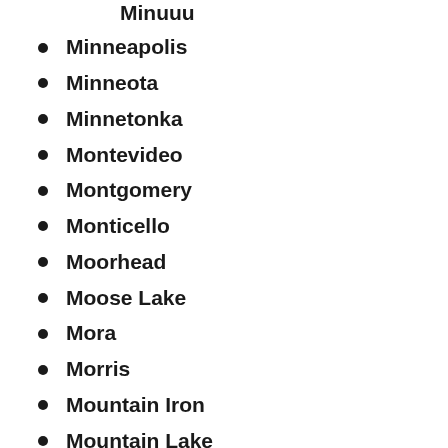Minneapolis
Minneota
Minnetonka
Montevideo
Montgomery
Monticello
Moorhead
Moose Lake
Mora
Morris
Mountain Iron
Mountain Lake
N. Mankato
New Brighton
New London
New Prague
New Richland
New Ulm